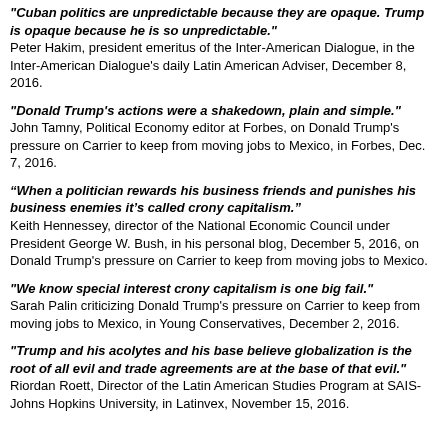"Cuban politics are unpredictable because they are opaque. Trump is opaque because he is so unpredictable." Peter Hakim, president emeritus of the Inter-American Dialogue, in the Inter-American Dialogue's daily Latin American Adviser, December 8, 2016.
"Donald Trump's actions were a shakedown, plain and simple." John Tamny, Political Economy editor at Forbes, on Donald Trump's pressure on Carrier to keep from moving jobs to Mexico, in Forbes, Dec. 7, 2016.
“When a politician rewards his business friends and punishes his business enemies it’s called crony capitalism.” Keith Hennessey, director of the National Economic Council under President George W. Bush, in his personal blog, December 5, 2016, on Donald Trump's pressure on Carrier to keep from moving jobs to Mexico.
"We know special interest crony capitalism is one big fail." Sarah Palin criticizing Donald Trump's pressure on Carrier to keep from moving jobs to Mexico, in Young Conservatives, December 2, 2016.
"Trump and his acolytes and his base believe globalization is the root of all evil and trade agreements are at the base of that evil." Riordan Roett, Director of the Latin American Studies Program at SAIS-Johns Hopkins University, in Latinvex, November 15, 2016.